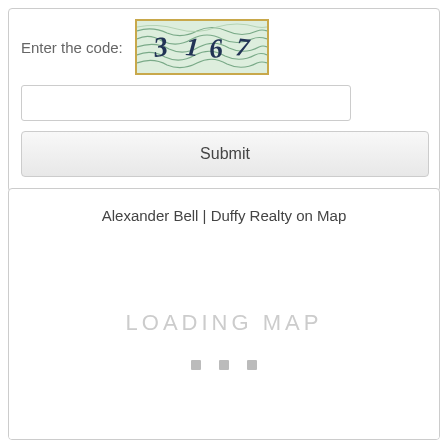Enter the code:
[Figure (other): CAPTCHA image showing wavy topographic lines with digits 3, 1, 6, 7]
[text input field]
Submit
Alexander Bell | Duffy Realty on Map
[Figure (map): Loading map placeholder showing 'LOADING MAP' text with three grey dots below]